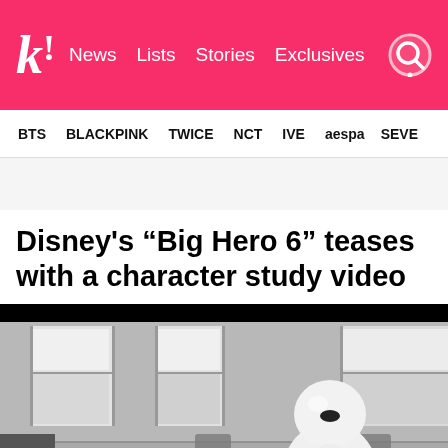k! News  Lists  Stories  Exclusives
BTS  BLACKPINK  TWICE  NCT  IVE  aespa  SEVE
Disney's “Big Hero 6” teases with a character study video
[Figure (screenshot): Black and white animated still from Disney's Big Hero 6 showing Baymax (a large white inflatable robot character) standing near a dining table with chairs in an indoor setting with large windows.]